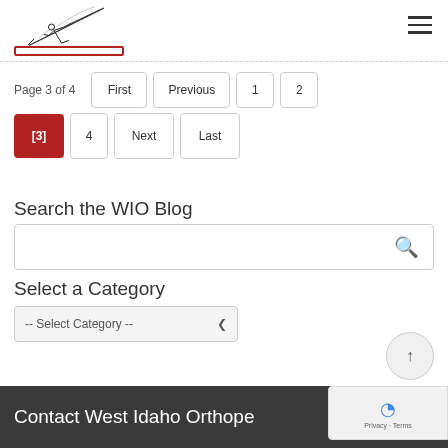[Figure (logo): West Idaho Orthopedics logo — stylized figure throwing a javelin, with a red rectangular border below]
Page 3 of 4
First  Previous  1  2  [3]  4  Next  Last
Search the WIO Blog
Select a Category
-- Select Category --
Contact West Idaho Orthope…